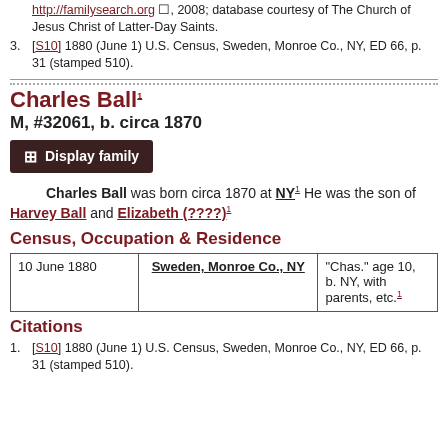http://familysearch.org, 2008; database courtesy of The Church of Jesus Christ of Latter-Day Saints.
[S10] 1880 (June 1) U.S. Census, Sweden, Monroe Co., NY, ED 66, p. 31 (stamped 510).
Charles Ball
M, #32061, b. circa 1870
Display family
Charles Ball was born circa 1870 at NY. He was the son of Harvey Ball and Elizabeth (????)
Census, Occupation & Residence
| Date | Place | Notes |
| --- | --- | --- |
| 10 June 1880 | Sweden, Monroe Co., NY | "Chas." age 10, b. NY, with parents, etc. |
Citations
[S10] 1880 (June 1) U.S. Census, Sweden, Monroe Co., NY, ED 66, p. 31 (stamped 510).